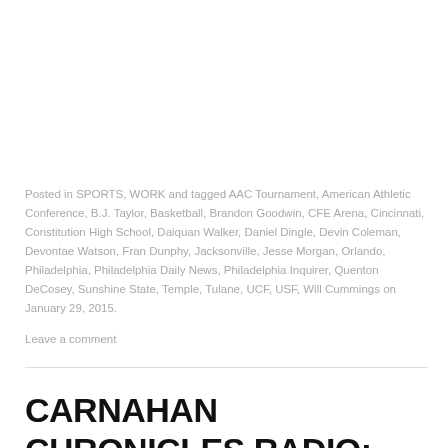Posted in SPORTS, WORK and tagged AAC Tournament, American Athletic Conference, B.J. Taylor, Basketball, Brandon Goodwin, CFE Arena, Cincinnati, Constitution High School, Daiquan Walker, Daniel Dingle, Devin Coleman, Devontae Watson, Fran Dunphy, Jacksonville, Jesse Morgan, Orlando, Philadelphia, Philadelphia Daily News, Philadelphia Inquirer, Quenton DeCosey, Sunshine State, Temple, Tulane, UCF, USF, Will Cummings on January 29, 2015.
Leave a comment
CARNAHAN CHRONICLES RADIO: UCFSPORTS.COM